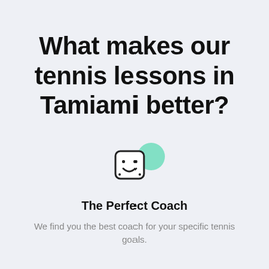What makes our tennis lessons in Tamiami better?
[Figure (logo): A small square icon with rounded corners showing a stylized smiley face / racket motif in black outline on white, with a green circular blob behind it to the upper right]
The Perfect Coach
We find you the best coach for your specific tennis goals.